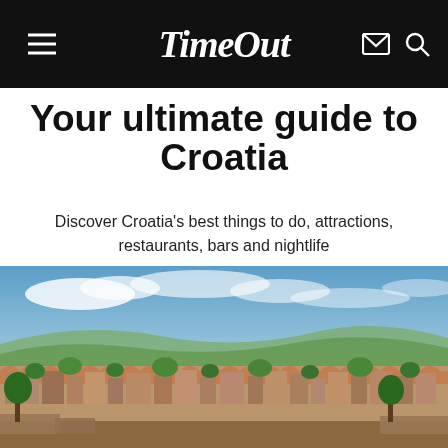Time Out
Your ultimate guide to Croatia
Discover Croatia's best things to do, attractions, restaurants, bars and nightlife
[Figure (photo): Aerial panoramic view of a Croatian coastal city with terracotta-roofed buildings, green trees, and a blue sky with scattered clouds.]